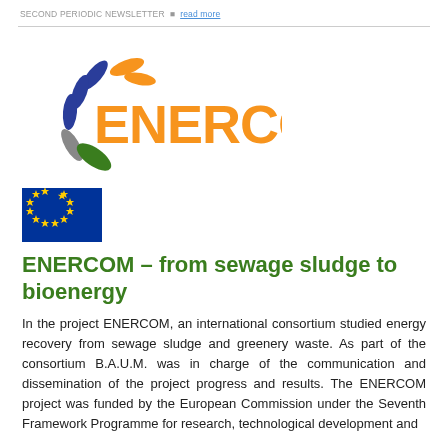SECOND PERIODIC NEWSLETTER · read more
[Figure (logo): ENERCOM logo with stylized wind/sun graphic and orange ENERCOM text, plus EU flag below]
ENERCOM – from sewage sludge to bioenergy
In the project ENERCOM, an international consortium studied energy recovery from sewage sludge and greenery waste. As part of the consortium B.A.U.M. was in charge of the communication and dissemination of the project progress and results. The ENERCOM project was funded by the European Commission under the Seventh Framework Programme for research, technological development and